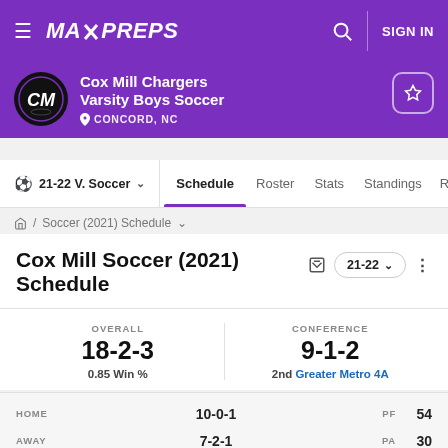MaxPreps - Cox Mill Chargers Varsity Boys Soccer
Cox Mill Soccer (2021) Schedule
OVERALL 18-2-3 0.85 Win %
CONFERENCE 9-1-2 2nd Greater Metro 4A
|  | RECORD | PF |  |
| --- | --- | --- | --- |
| HOME | 10-0-1 | PF | 54 |
| AWAY | 7-2-1 | PA | 30 |